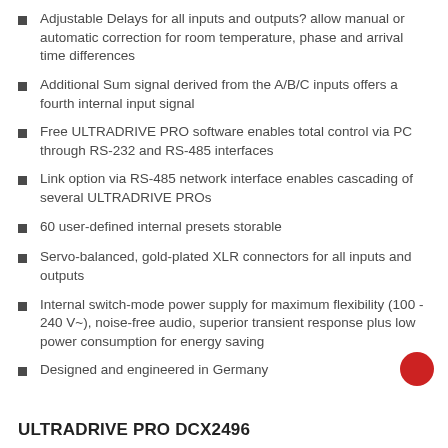Adjustable Delays for all inputs and outputs? allow manual or automatic correction for room temperature, phase and arrival time differences
Additional Sum signal derived from the A/B/C inputs offers a fourth internal input signal
Free ULTRADRIVE PRO software enables total control via PC through RS-232 and RS-485 interfaces
Link option via RS-485 network interface enables cascading of several ULTRADRIVE PROs
60 user-defined internal presets storable
Servo-balanced, gold-plated XLR connectors for all inputs and outputs
Internal switch-mode power supply for maximum flexibility (100 - 240 V~), noise-free audio, superior transient response plus low power consumption for energy saving
Designed and engineered in Germany
ULTRADRIVE PRO DCX2496